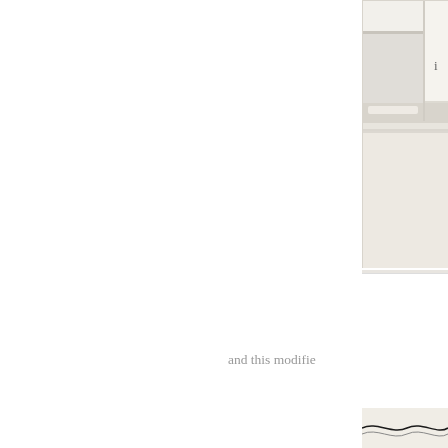[Figure (photo): Top portion of a photo showing a white window sill or shelf, cropped at right edge of page. Light neutral tones, soft focus background.]
i
and this modifie
[Figure (photo): A decorative greeting card featuring rainbow-colored glitter stripes (red, orange, yellow, green, blue, violet) with white silhouettes of trees and houses along the bottom edge. The card sits on a white surface with black and white baker's twine visible at the bottom.]